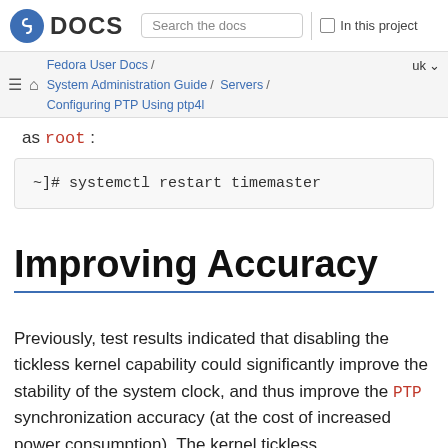Fedora DOCS | Search the docs | In this project
Fedora User Docs / System Administration Guide / Servers / Configuring PTP Using ptp4l | uk
as root:
~]# systemctl restart timemaster
Improving Accuracy
Previously, test results indicated that disabling the tickless kernel capability could significantly improve the stability of the system clock, and thus improve the PTP synchronization accuracy (at the cost of increased power consumption). The kernel tickless